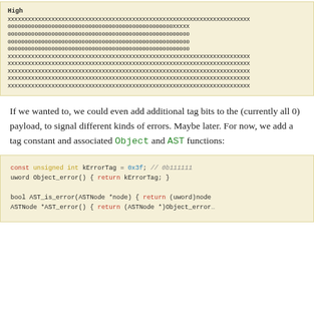[Figure (other): Code block showing binary/hex pattern with 'High' label, X and 0 characters in monospace on yellow background]
If we wanted to, we could even add additional tag bits to the (currently all 0) payload, to signal different kinds of errors. Maybe later. For now, we add a tag constant and associated Object and AST functions:
[Figure (screenshot): Code block showing C code: const unsigned int kErrorTag = 0x3f; // 0b111111, uword Object_error() { return kErrorTag; }, bool AST_is_error(ASTNode *node) { return (uword)node, ASTNode *AST_error() { return (ASTNode *)Object_error]